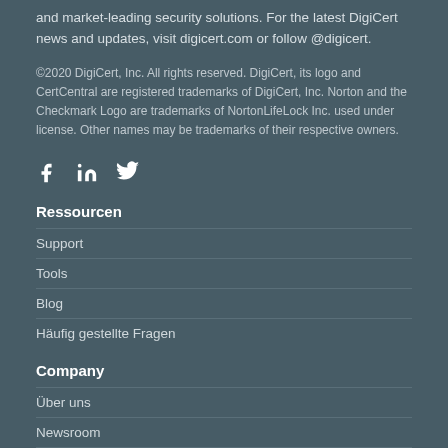and market-leading security solutions. For the latest DigiCert news and updates, visit digicert.com or follow @digicert.
©2020 DigiCert, Inc. All rights reserved. DigiCert, its logo and CertCentral are registered trademarks of DigiCert, Inc. Norton and the Checkmark Logo are trademarks of NortonLifeLock Inc. used under license. Other names may be trademarks of their respective owners.
[Figure (illustration): Social media icons: Facebook, LinkedIn, Twitter in white]
Ressourcen
Support
Tools
Blog
Häufig gestellte Fragen
Company
Über uns
Newsroom
Kontakt
Impressum